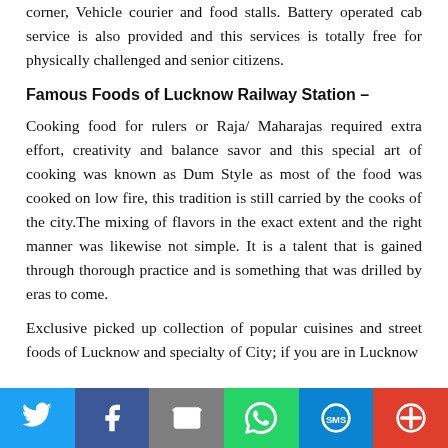corner, Vehicle courier and food stalls. Battery operated cab service is also provided and this services is totally free for physically challenged and senior citizens.
Famous Foods of Lucknow Railway Station –
Cooking food for rulers or Raja/ Maharajas required extra effort, creativity and balance savor and this special art of cooking was known as Dum Style as most of the food was cooked on low fire, this tradition is still carried by the cooks of the city.The mixing of flavors in the exact extent and the right manner was likewise not simple. It is a talent that is gained through thorough practice and is something that was drilled by eras to come.
Exclusive picked up collection of popular cuisines and street foods of Lucknow and specialty of City; if you are in Lucknow
[Figure (infographic): Social sharing bar with icons for Twitter, Facebook, Email, WhatsApp, SMS, and More]